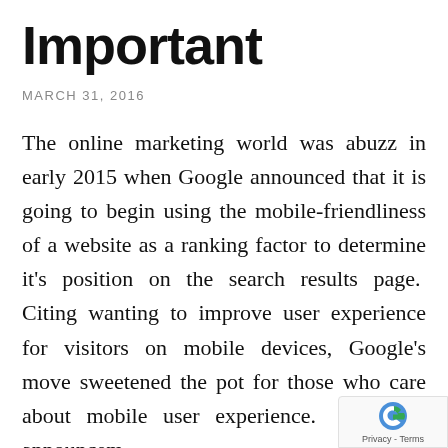Important
MARCH 31, 2016
The online marketing world was abuzz in early 2015 when Google announced that it is going to begin using the mobile-friendliness of a website as a ranking factor to determine it's position on the search results page.  Citing wanting to improve user experience for visitors on mobile devices, Google's move sweetened the pot for those who care about mobile user experience.  With an announcem